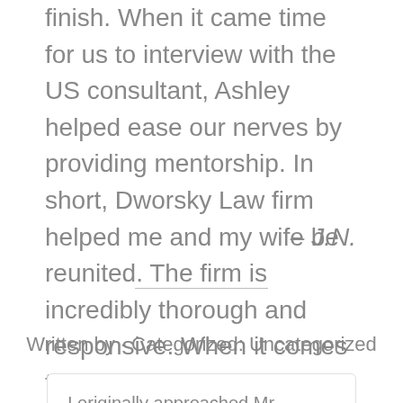finish. When it came time for us to interview with the US consultant, Ashley helped ease our nerves by providing mentorship. In short, Dworsky Law firm helped me and my wife be reunited. The firm is incredibly thorough and responsive. When it comes to immigration, trust the experts!
– J.N.
Written by · Categorized: Uncategorized
I originally approached Mr. Dworsky,